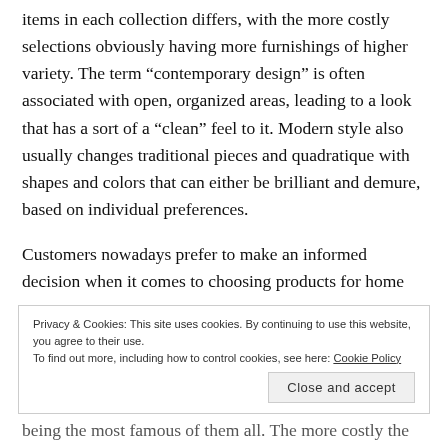items in each collection differs, with the more costly selections obviously having more furnishings of higher variety. The term “contemporary design” is often associated with open, organized areas, leading to a look that has a sort of a “clean” feel to it. Modern style also usually changes traditional pieces and quadratique with shapes and colors that can either be brilliant and demure, based on individual preferences.
Customers nowadays prefer to make an informed decision when it comes to choosing products for home
Privacy & Cookies: This site uses cookies. By continuing to use this website, you agree to their use.
To find out more, including how to control cookies, see here: Cookie Policy
being the most famous of them all. The more costly the